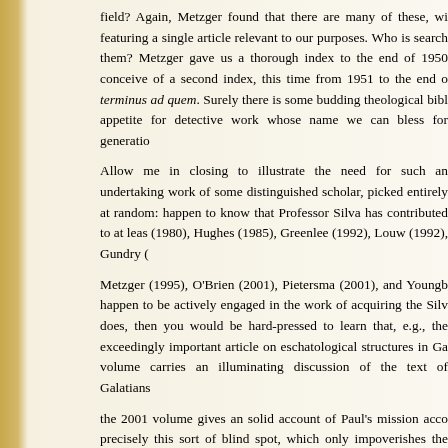field? Again, Metzger found that there are many of these, wi featuring a single article relevant to our purposes. Who is search them? Metzger gave us a thorough index to the end of 1950 conceive of a second index, this time from 1951 to the end o terminus ad quem. Surely there is some budding theological bibl appetite for detective work whose name we can bless for generatio
Allow me in closing to illustrate the need for such an undertaking work of some distinguished scholar, picked entirely at random: happen to know that Professor Silva has contributed to at leas (1980), Hughes (1985), Greenlee (1992), Louw (1992), Gundry (
Metzger (1995), O'Brien (2001), Pietersma (2001), and Youngb happen to be actively engaged in the work of acquiring the Silv does, then you would be hard-pressed to learn that, e.g., the exceedingly important article on eschatological structures in Ga volume carries an illuminating discussion of the text of Galatians
the 2001 volume gives an solid account of Paul's mission acco precisely this sort of blind spot, which only impoverishes the brea that a full and thematic index helps of us to resolve.
ENDNOTES
1 B M M l I d f A i l h N T